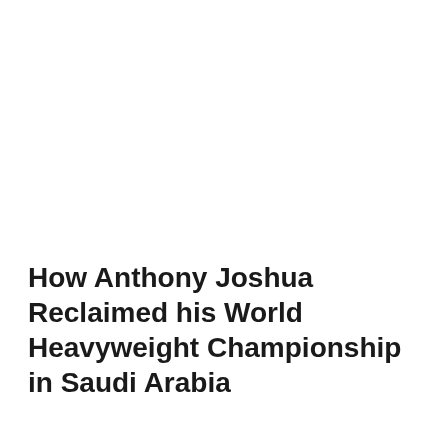How Anthony Joshua Reclaimed his World Heavyweight Championship in Saudi Arabia